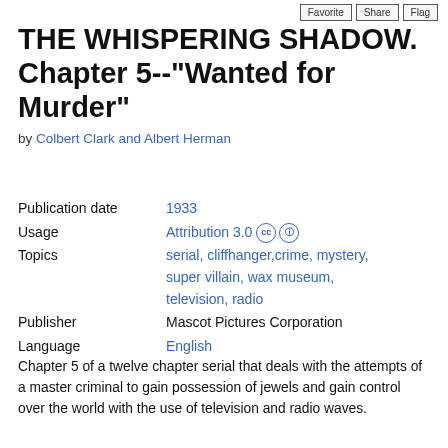THE WHISPERING SHADOW. Chapter 5--"Wanted for Murder"
by Colbert Clark and Albert Herman
| Field | Value |
| --- | --- |
| Publication date | 1933 |
| Usage | Attribution 3.0 |
| Topics | serial, cliffhanger,crime, mystery, super villain, wax museum, television, radio |
| Publisher | Mascot Pictures Corporation |
| Language | English |
Chapter 5 of a twelve chapter serial that deals with the attempts of a master criminal to gain possession of jewels and gain control over the world with the use of television and radio waves.